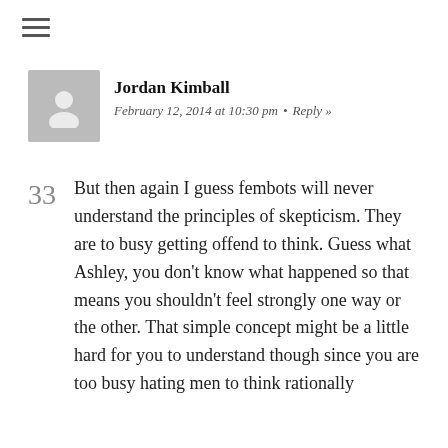[Figure (other): Hamburger menu icon (three horizontal lines)]
[Figure (other): Grey avatar placeholder with person silhouette]
Jordan Kimball
February 12, 2014 at 10:30 pm  •  Reply »
33
But then again I guess fembots will never understand the principles of skepticism. They are to busy getting offend to think. Guess what Ashley, you don't know what happened so that means you shouldn't feel strongly one way or the other. That simple concept might be a little hard for you to understand though since you are too busy hating men to think rationally